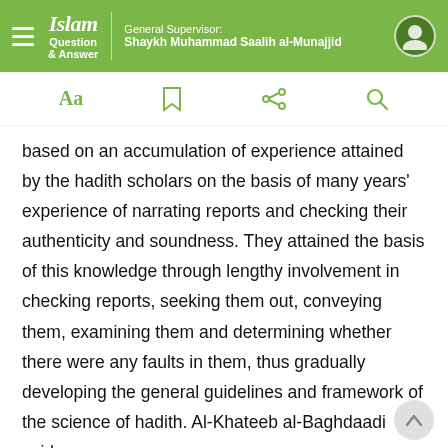Islam Question & Answer | General Supervisor: Shaykh Muhammad Saalih al-Munajjid
[Figure (screenshot): App toolbar with Aa (font size), bookmark, share, and search icons in green]
based on an accumulation of experience attained by the hadith scholars on the basis of many years' experience of narrating reports and checking their authenticity and soundness. They attained the basis of this knowledge through lengthy involvement in checking reports, seeking them out, conveying them, examining them and determining whether there were any faults in them, thus gradually developing the general guidelines and framework of the science of hadith. Al-Khateeb al-Baghdaadi said:
Distinguishing the soundness of hadith is a kind of